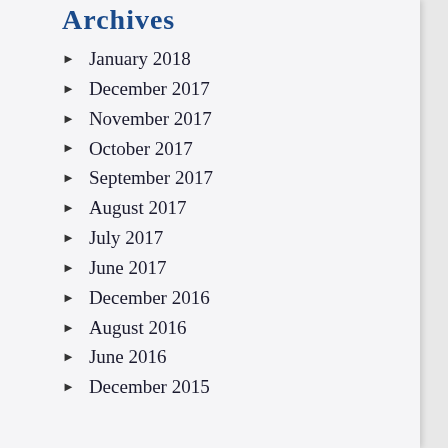Archives
January 2018
December 2017
November 2017
October 2017
September 2017
August 2017
July 2017
June 2017
December 2016
August 2016
June 2016
December 2015